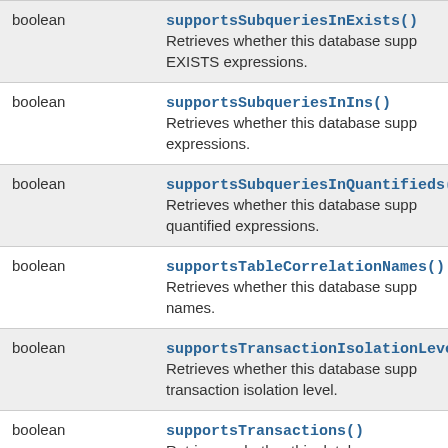| Type | Method and Description |
| --- | --- |
| boolean | supportsSubqueriesInExists()
Retrieves whether this database supp... EXISTS expressions. |
| boolean | supportsSubqueriesInIns()
Retrieves whether this database supp... expressions. |
| boolean | supportsSubqueriesInQuantifieds()
Retrieves whether this database supp... quantified expressions. |
| boolean | supportsTableCorrelationNames()
Retrieves whether this database supp... names. |
| boolean | supportsTransactionIsolationLevel
Retrieves whether this database supp... transaction isolation level. |
| boolean | supportsTransactions()
Retrieves whether this database supp... |